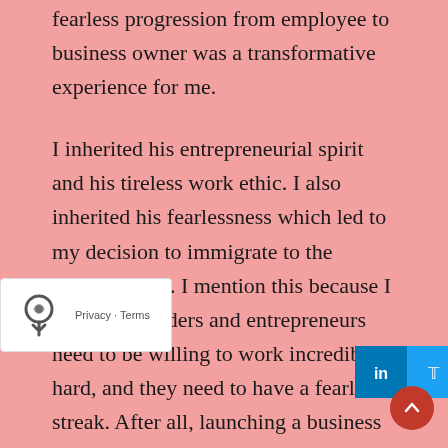fearless progression from employee to business owner was a transformative experience for me.
I inherited his entrepreneurial spirit and his tireless work ethic. I also inherited his fearlessness which led to my decision to immigrate to the United States. I mention this because I think that leaders and entrepreneurs need to be willing to work incredibly hard, and they need to have a fearless streak. After all, launching a business can be scary, not to mention an enormous risk.
Likewise, I believe it is the responsibility of every entrepreneur, to have confidence, thus writing Go Yourself. A… ect people to follow your lead… t in your